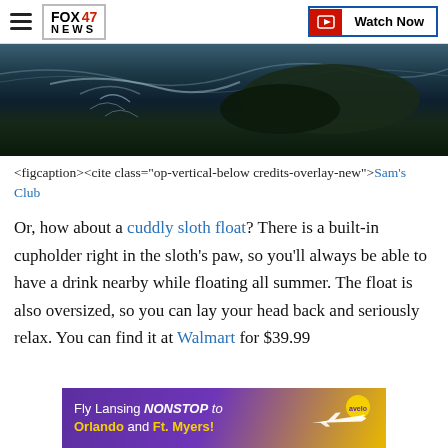FOX 47 NEWS | Watch Now
[Figure (photo): Dark underwater/ocean scene showing what appears to be a shark or large creature near the water surface, dark moody tones of teal and black]
<figcaption><cite class="op-vertical-below credits-overlay-new">Sam's Club
Or, how about a cuddly sloth float? There is a built-in cupholder right in the sloth's paw, so you'll always be able to have a drink nearby while floating all summer. The float is also oversized, so you can lay your head back and seriously relax. You can find it at Walmart for $39.99 ... for $34.88
[Figure (infographic): Advertisement banner: Fly Lansing NONSTOP to Orlando and Ft. Myers! with purple/yellow background and airplane graphic (Avelo Airlines)]